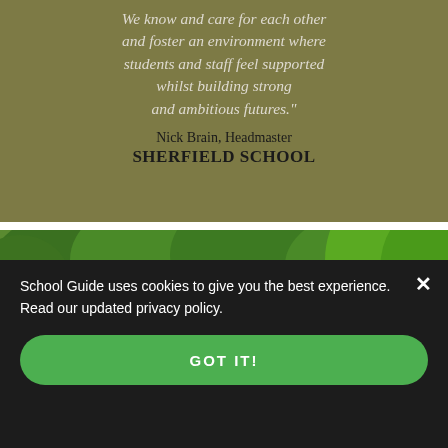We know and care for each other and foster an environment where students and staff feel supported whilst building strong and ambitious futures."

Nick Brain, Headmaster
SHERFIELD SCHOOL
[Figure (photo): Children in navy school uniforms running happily along a path surrounded by green trees and foliage]
School Guide uses cookies to give you the best experience. Read our updated privacy policy.
GOT IT!